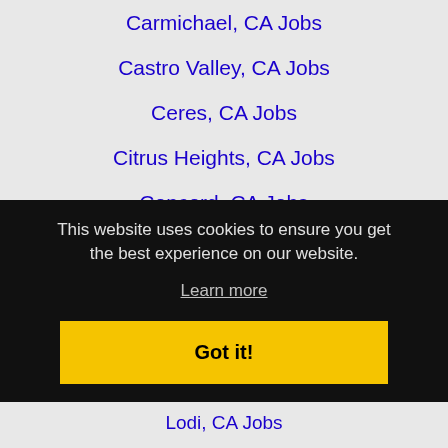Carmichael, CA Jobs
Castro Valley, CA Jobs
Ceres, CA Jobs
Citrus Heights, CA Jobs
Concord, CA Jobs
Cupertino, CA Jobs
Daly City, CA Jobs
Danville, CA Jobs
Davis, CA Jobs
Dublin, CA Jobs
This website uses cookies to ensure you get the best experience on our website.
Learn more
Got it!
Lodi, CA Jobs